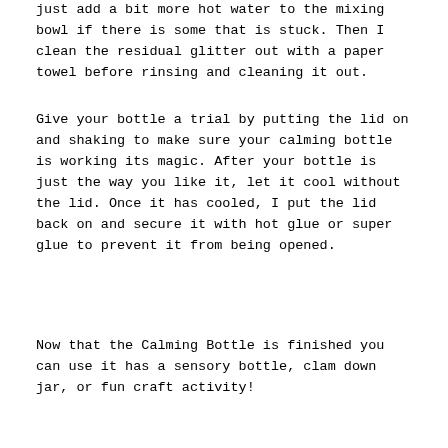just add a bit more hot water to the mixing bowl if there is some that is stuck. Then I clean the residual glitter out with a paper towel before rinsing and cleaning it out.
Give your bottle a trial by putting the lid on and shaking to make sure your calming bottle is working its magic. After your bottle is just the way you like it, let it cool without the lid. Once it has cooled, I put the lid back on and secure it with hot glue or super glue to prevent it from being opened.
Now that the Calming Bottle is finished you can use it has a sensory bottle, clam down jar, or fun craft activity!